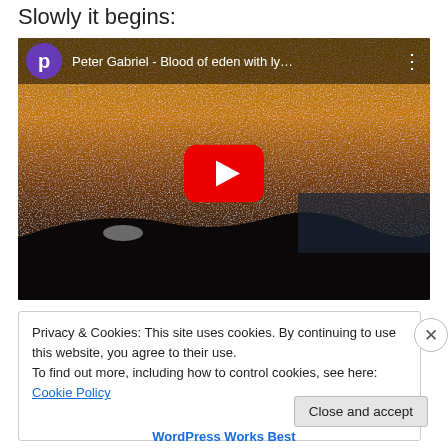Slowly it begins:
[Figure (screenshot): YouTube video embed showing 'Peter Gabriel - Blood of eden with ly...' with purple channel avatar, landscape thumbnail (sunset/dusk over water with noisy grainy texture), and red YouTube play button in center.]
Privacy & Cookies: This site uses cookies. By continuing to use this website, you agree to their use.
To find out more, including how to control cookies, see here: Cookie Policy
WordPress Works Best